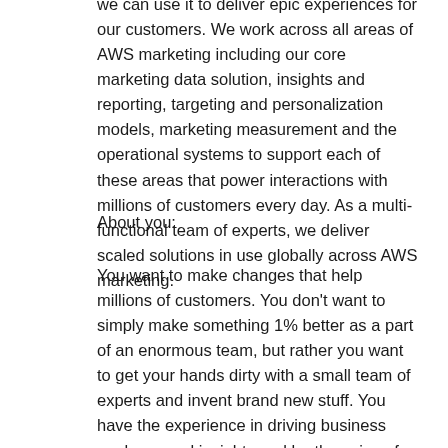we can use it to deliver epic experiences for our customers. We work across all areas of AWS marketing including our core marketing data solution, insights and reporting, targeting and personalization models, marketing measurement and the operational systems to support each of these areas that power interactions with millions of customers every day. As a multi-functional team of experts, we deliver scaled solutions in use globally across AWS marketing.
About you:
You want to make changes that help millions of customers. You don't want to simply make something 1% better as a part of an enormous team, but rather you want to get your hands dirty with a small team of experts and invent brand new stuff. You have the experience in driving business analyses and insights and be the voice of business stakeholders in delivering actionable insights for execution of marketing programs. You have great problem solving skills. You love keeping abreast of the latest technology and use it to help you innovate. You have strong leadership qualities, great judgment, clear communication skills, and a